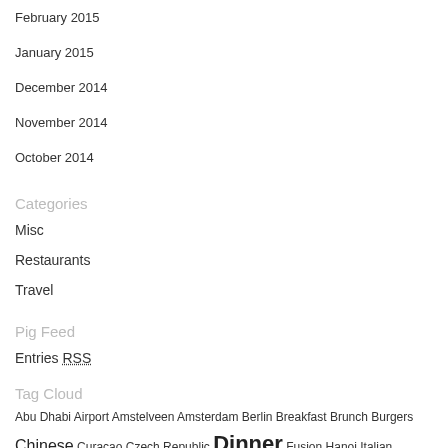February 2015
January 2015
December 2014
November 2014
October 2014
Categories
Misc
Restaurants
Travel
Pig Feed
Entries RSS
Tag Cloud
Abu Dhabi Airport Amstelveen Amsterdam Berlin Breakfast Brunch Burgers Chinese Curacao Czech Republic Dinner Fusion Hanoi Italian japanese Korean Krioyo Lebanese Lunch Markthal Michelin star New Orleans noodles Noordplein Oysters